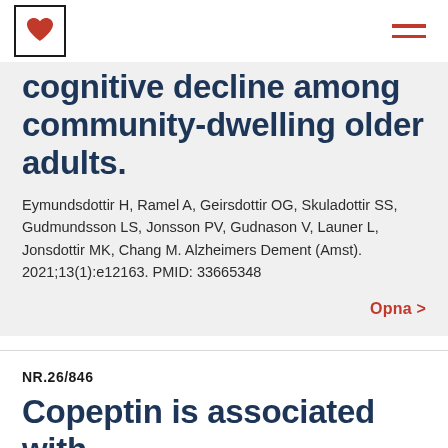cognitive decline among community-dwelling older adults.
Eymundsdottir H, Ramel A, Geirsdottir OG, Skuladottir SS, Gudmundsson LS, Jonsson PV, Gudnason V, Launer L, Jonsdottir MK, Chang M. Alzheimers Dement (Amst). 2021;13(1):e12163. PMID: 33665348
Opna >
NR.26/846
Copeptin is associated with mortality in elderly people.